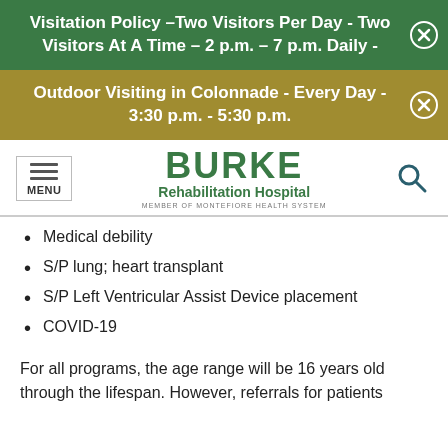Visitation Policy –Two Visitors Per Day - Two Visitors At A Time – 2 p.m. – 7 p.m. Daily -
Outdoor Visiting in Colonnade - Every Day - 3:30 p.m. - 5:30 p.m.
[Figure (logo): Burke Rehabilitation Hospital - Member of Montefiore Health System logo with menu button and search icon]
Medical debility
S/P lung; heart transplant
S/P Left Ventricular Assist Device placement
COVID-19
For all programs, the age range will be 16 years old through the lifespan. However, referrals for patients